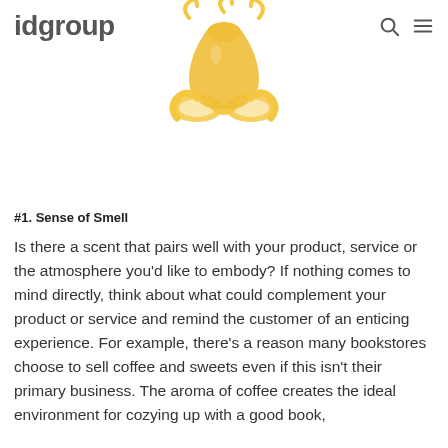idgroup
[Figure (illustration): Illustrated nose icon with golden/yellow color depicting sense of smell]
#1. Sense of Smell
Is there a scent that pairs well with your product, service or the atmosphere you’d like to embody? If nothing comes to mind directly, think about what could complement your product or service and remind the customer of an enticing experience. For example, there’s a reason many bookstores choose to sell coffee and sweets even if this isn’t their primary business. The aroma of coffee creates the ideal environment for cozying up with a good book,